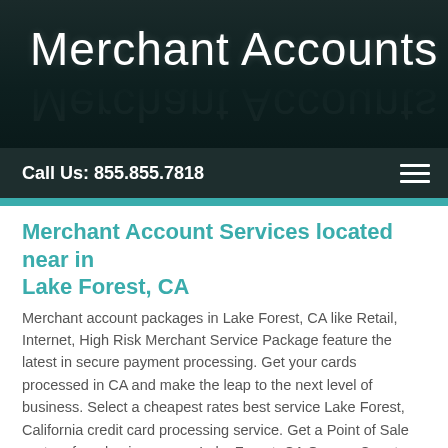Merchant Accounts LLC
Call Us: 855.855.7818
Merchant Account Services located near in Lake Forest, CA
Merchant account packages in Lake Forest, CA like Retail, Internet, High Risk Merchant Service Package feature the latest in secure payment processing. Get your cards processed in CA and make the leap to the next level of business. Select a cheapest rates best service Lake Forest, California credit card processing service. Get a Point of Sale system for a business near Lake Forest, CA Orange County that can be customized to fit your business's needs. Get a merchant cash discount program and pay no fees for your credit card terminal. Your business can't wait, and neither can these offers.
Credit Card Processing Services in Orange